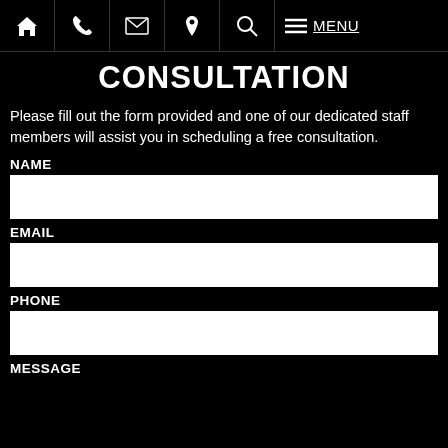Navigation bar with home, phone, email, location, search, menu icons and MENU text
CONSULTATION
Please fill out the form provided and one of our dedicated staff members will assist you in scheduling a free consultation.
NAME
EMAIL
PHONE
MESSAGE